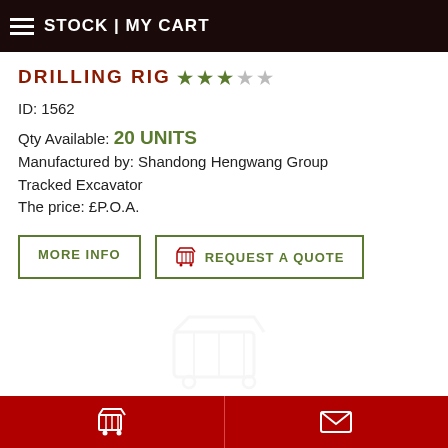STOCK | MY CART
DRILLING RIG
ID: 1562
Qty Available: 20 UNITS
Manufactured by: Shandong Hengwang Group Tracked Excavator
The price: £P.O.A.
MORE INFO | REQUEST A QUOTE